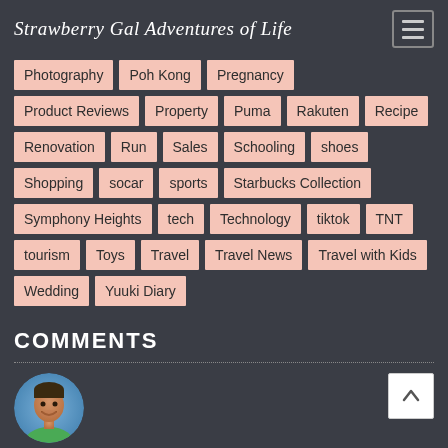Strawberry Gal Adventures of Life
Photography
Poh Kong
Pregnancy
Product Reviews
Property
Puma
Rakuten
Recipe
Renovation
Run
Sales
Schooling
shoes
Shopping
socar
sports
Starbucks Collection
Symphony Heights
tech
Technology
tiktok
TNT
tourism
Toys
Travel
Travel News
Travel with Kids
Wedding
Yuuki Diary
COMMENTS
[Figure (photo): User avatar photo of a smiling man]